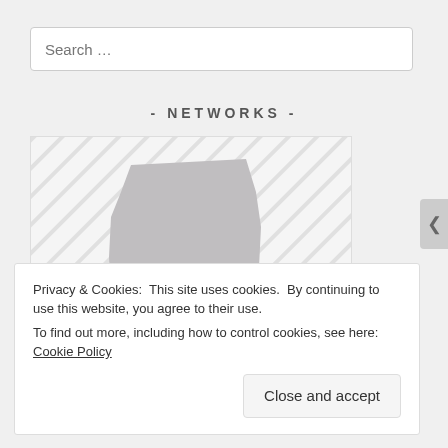Search …
- NETWORKS -
[Figure (illustration): Alabama state shape silhouette in gray with a purple heart icon in the center, on a diagonal striped background, with a purple semicircular logo partially visible at the bottom reading 'MINGHAM']
Privacy & Cookies: This site uses cookies. By continuing to use this website, you agree to their use.
To find out more, including how to control cookies, see here: Cookie Policy
Close and accept